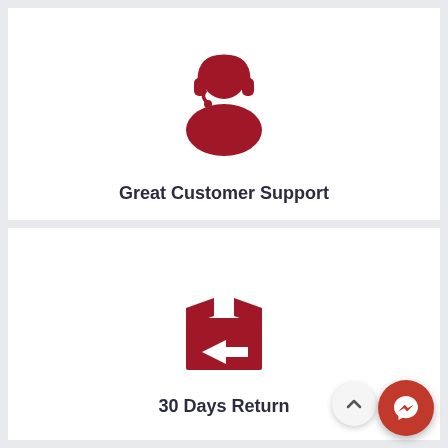[Figure (illustration): Customer support agent icon in dark red/crimson color showing a person with headset]
Great Customer Support
[Figure (illustration): Return box icon in dark red/crimson color showing an open package box with a left-pointing arrow]
30 Days Return
[Figure (illustration): Scroll to top button - circular button with upward chevron arrow]
[Figure (illustration): Facebook Messenger button - red circular button with messenger lightning bolt icon]